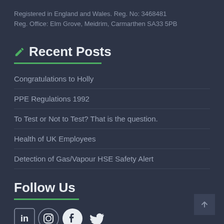Registered in England and Wales. Reg. No: 3468481
Reg. Office: Elm Grove, Meidrim, Carmarthen SA33 5PB
Recent Posts
Congratulations to Holly
PPE Regulations 1992
To Test or Not to Test? That is the question.
Health of UK Employees
Detection of Gas/Vapour HSE Safety Alert
Follow Us
[Figure (other): Social media icons: LinkedIn, Instagram, Facebook, Twitter]